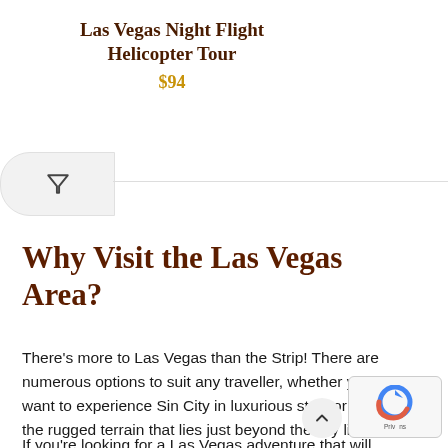Las Vegas Night Flight Helicopter Tour
$94
[Figure (other): Filter icon (funnel/triangle shape) inside a rounded rectangle search filter bar]
Why Visit the Las Vegas Area?
There's more to Las Vegas than the Strip! There are numerous options to suit any traveller, whether you want to experience Sin City in luxurious style or explore the rugged terrain that lies just beyond the city limits.
If you're looking for a Las Vegas adventure that will